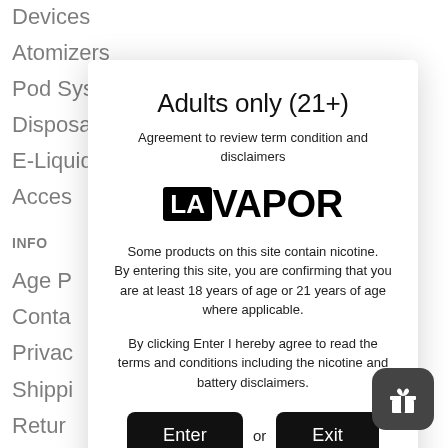Devices
Atomizers
Pod Systems
Disposables
E-Liquids
Acces[sories]
INFO[RMATION]
Age P[olicy]
Conta[ct]
Privac[y]
Shippi[ng]
Retur[ns]
CUST[OMER SERVICE]
Batter[y]
In-Sto[re]
Nicoti[ne]
Adults only (21+)
Agreement to review term condition and disclaimers
[Figure (logo): LAVAPOR logo — LA in white text on black box, VAPOR in bold black text]
Some products on this site contain nicotine.
By entering this site, you are confirming that you are at least 18 years of age or 21 years of age where applicable.
By clicking Enter I hereby agree to read the terms and conditions including the nicotine and battery disclaimers.
Enter or Exit